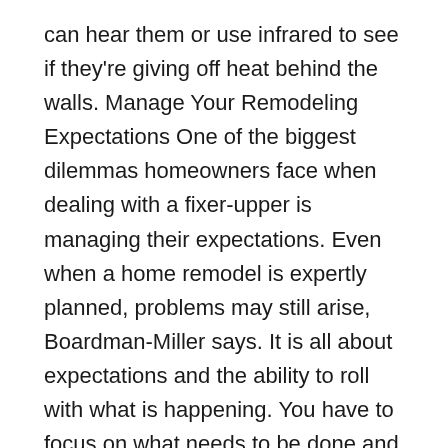can hear them or use infrared to see if they're giving off heat behind the walls. Manage Your Remodeling Expectations One of the biggest dilemmas homeowners face when dealing with a fixer-upper is managing their expectations. Even when a home remodel is expertly planned, problems may still arise, Boardman-Miller says. It is all about expectations and the ability to roll with what is happening. You have to focus on what needs to be done and cut out the extras that you may have been planning. Be realistic and stay on budget. If you do your homework, you could end up with a fair amount of equity in the finished house and get what you really want. Baker says one of the most important things homeowners can do to avoid these costly issues is research, first into the home purchase process, then into